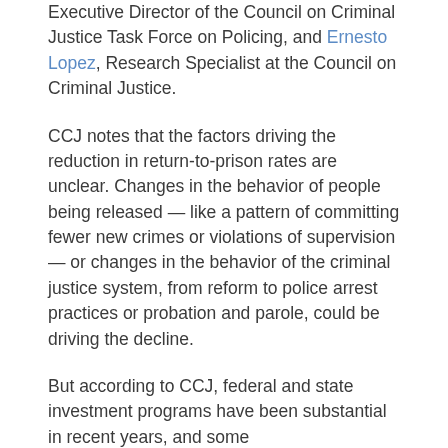Executive Director of the Council on Criminal Justice Task Force on Policing, and Ernesto Lopez, Research Specialist at the Council on Criminal Justice.
CCJ notes that the factors driving the reduction in return-to-prison rates are unclear. Changes in the behavior of people being released — like a pattern of committing fewer new crimes or violations of supervision — or changes in the behavior of the criminal justice system, from reform to police arrest practices or probation and parole, could be driving the decline.
But according to CCJ, federal and state investment programs have been substantial in recent years, and some